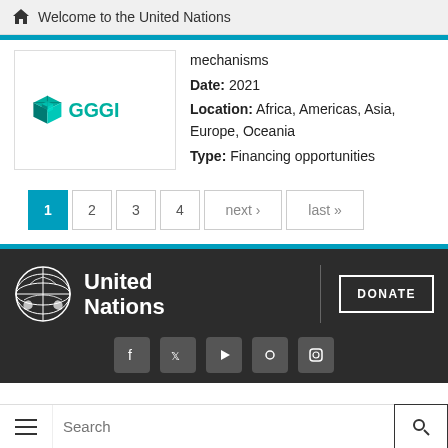Welcome to the United Nations
[Figure (logo): GGGI (Global Green Growth Institute) logo with teal cube icon and GGGI wordmark]
mechanisms
Date: 2021
Location: Africa, Americas, Asia, Europe, Oceania
Type: Financing opportunities
1  2  3  4  next ›  last »
[Figure (logo): United Nations logo with globe emblem and United Nations text in white on dark background, with DONATE button]
Search